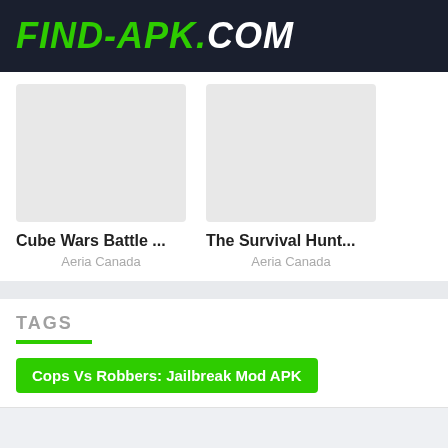FIND-APK.COM
Cube Wars Battle ...
Aeria Canada
The Survival Hunt...
Aeria Canada
TAGS
Cops Vs Robbers: Jailbreak Mod APK
©2020-22 > Find-APK.COM - All Right Reserved
Contact Us – DMCA – Disclaimer – Privacy Policy